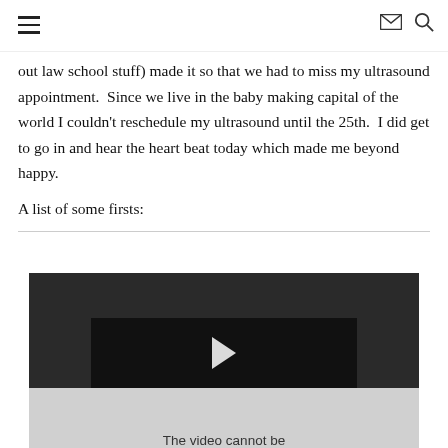[hamburger menu] [envelope icon] [search icon]
out law school stuff) made it so that we had to miss my ultrasound appointment.  Since we live in the baby making capital of the world I couldn't reschedule my ultrasound until the 25th.  I did get to go in and hear the heart beat today which made me beyond happy.
A list of some firsts:
[Figure (screenshot): Embedded video player with dark gray background, black center panel with a play button arrow icon, and a light gray lower section with text 'The video cannot be']